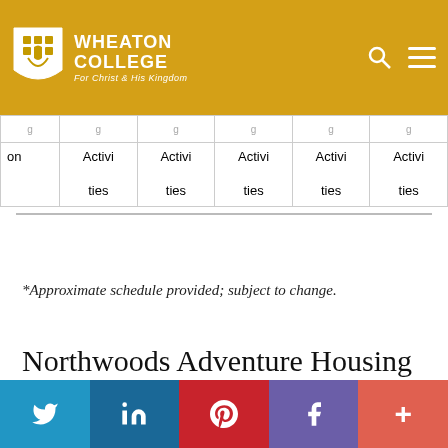Wheaton College — For Christ and His Kingdom
| on | Activities | Activities | Activities | Activities | Activities |
| --- | --- | --- | --- | --- | --- |
*Approximate schedule provided; subject to change.
Northwoods Adventure Housing & Cost Options
Twitter | LinkedIn | Pinterest | Facebook | More